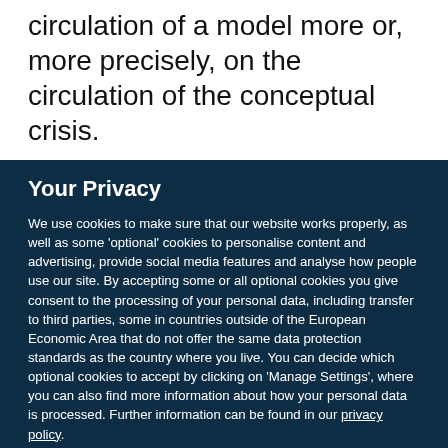circulation of a model more or, more precisely, on the circulation of the conceptual crisis.
Your Privacy
We use cookies to make sure that our website works properly, as well as some 'optional' cookies to personalise content and advertising, provide social media features and analyse how people use our site. By accepting some or all optional cookies you give consent to the processing of your personal data, including transfer to third parties, some in countries outside of the European Economic Area that do not offer the same data protection standards as the country where you live. You can decide which optional cookies to accept by clicking on 'Manage Settings', where you can also find more information about how your personal data is processed. Further information can be found in our privacy policy.
Accept all cookies
Manage preferences